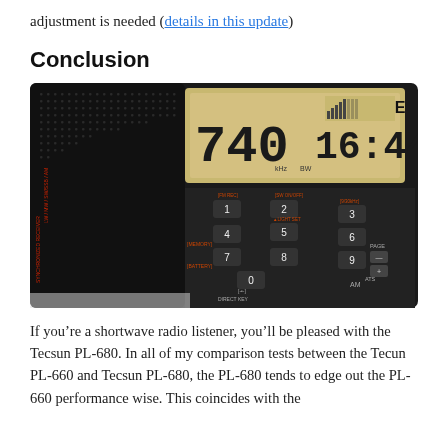adjustment is needed (details in this update)
Conclusion
[Figure (photo): Close-up photo of a Tecsun PL-680 shortwave radio receiver showing the keypad with numbered buttons (0-9), memory, battery, direct key labels, and the LCD display showing frequency 740 kHz and time 16:44, with speaker grille on the left and 'TECSUN' branding visible.]
If you’re a shortwave radio listener, you’ll be pleased with the Tecsun PL-680. In all of my comparison tests between the Tecun PL-660 and Tecsun PL-680, the PL-680 tends to edge out the PL-660 performance wise. This coincides with the